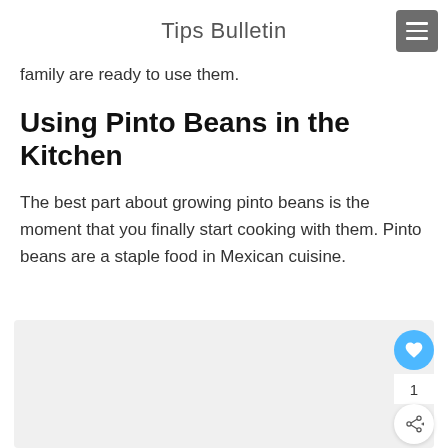Tips Bulletin
family are ready to use them.
Using Pinto Beans in the Kitchen
The best part about growing pinto beans is the moment that you finally start cooking with them. Pinto beans are a staple food in Mexican cuisine.
[Figure (other): Light gray image placeholder with floating action buttons (heart, count 1, share) on the right side]